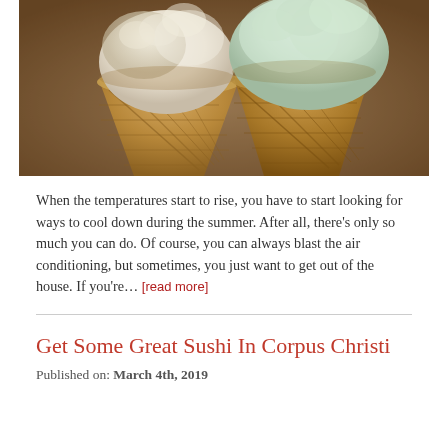[Figure (photo): Close-up photograph of two ice cream waffle cones — one with vanilla/white ice cream and one with mint/green ice cream — resting together on a warm-toned blurred background.]
When the temperatures start to rise, you have to start looking for ways to cool down during the summer. After all, there's only so much you can do. Of course, you can always blast the air conditioning, but sometimes, you just want to get out of the house. If you're… [read more]
Get Some Great Sushi In Corpus Christi
Published on: March 4th, 2019